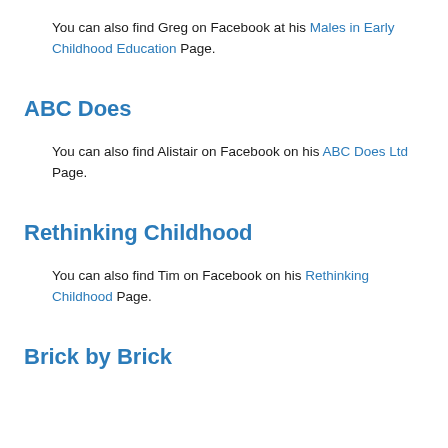You can also find Greg on Facebook at his Males in Early Childhood Education Page.
ABC Does
You can also find Alistair on Facebook on his ABC Does Ltd Page.
Rethinking Childhood
You can also find Tim on Facebook on his Rethinking Childhood Page.
Brick by Brick